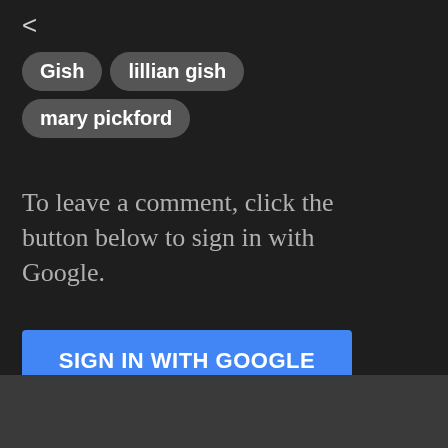Gish
lillian gish
mary pickford
To leave a comment, click the button below to sign in with Google.
SIGN IN WITH GOOGLE
Popular posts from this blog